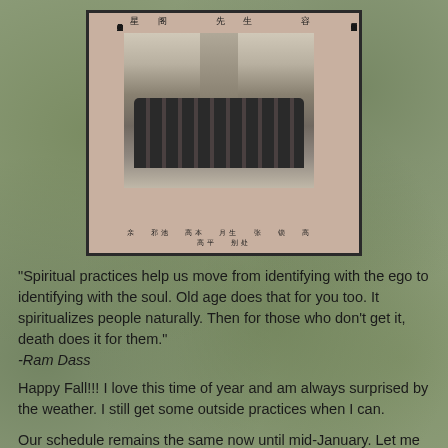[Figure (photo): A historical photograph mounted on a decorative background with Chinese calligraphy text on all sides. The photo shows a group of people in traditional Chinese clothing standing outdoors. The mount has vertical Chinese calligraphy on the left and right sides, horizontal text at the top, and names/labels at the bottom.]
"Spiritual practices help us move from identifying with the ego to identifying with the soul. Old age does that for you too. It spiritualizes people naturally. Then for those who don't get it, death does it for them."
-Ram Dass
Happy Fall!!! I love this time of year and am always surprised by the weather. I still get some outside practices when I can.
Our schedule remains the same now until mid-January. Let me know if you have any class requests.